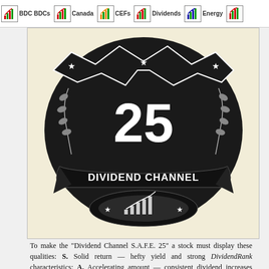BDCs | Canada | CEFs | Dividends | Energy
[Figure (logo): Dividend Channel S.A.F.E. 25 badge — black circular emblem with '25' in the center and 'DIVIDEND CHANNEL' on a ribbon banner, decorated with stars, wheat stalks, and a bar chart growth icon]
To make the "Dividend Channel S.A.F.E. 25" a stock must display these qualities: S. Solid return — hefty yield and strong DividendRank characteristics; A. Accelerating amount — consistent dividend increases over time; F. Flawless history — never a missed or lowered dividend; E. Enduring — at least two decades of dividend payments.
Start slideshow: Top 25 S.A.F.E. Dividend Stocks
Ending investment
Years: